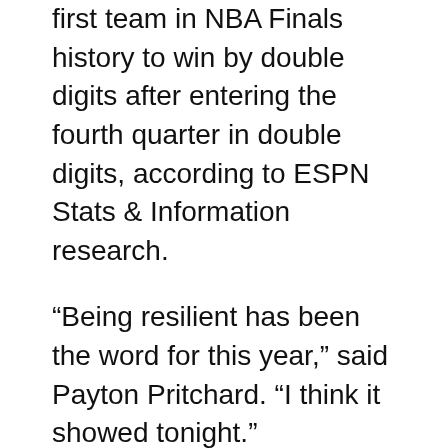first team in NBA Finals history to win by double digits after entering the fourth quarter in double digits, according to ESPN Stats & Information research.
“Being resilient has been the word for this year,” said Payton Pritchard. “I think it showed tonight.”
He certainly did in the second half. Boston struggled through the entire postseason in the third quarter and did it again in Game 1, as they faced a Warriors team that has historically dominated coming out of halftime.
The Celtics were outscored 38-24 in third. They committed five turnovers. They let Golden State go from 3 points. And Jayson Tatum and Jaylen